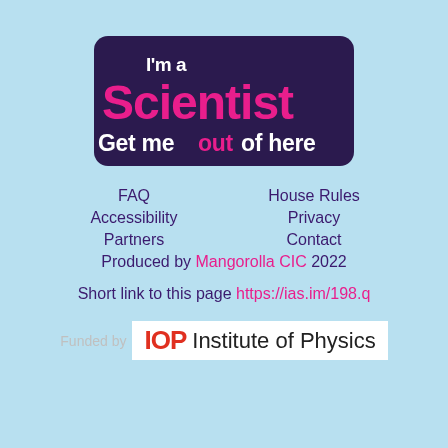[Figure (logo): I'm a Scientist Get me out of here logo — stylized text with 'I'm a' in purple outlined font, 'Scientist' in large pink bold font, 'Get me out of here' in purple outlined font on dark background, with white and pink text styling]
FAQ    House Rules
Accessibility    Privacy
Partners    Contact
Produced by Mangorolla CIC 2022
Short link to this page https://ias.im/198.q
[Figure (logo): IOP Institute of Physics logo — bold red IOP text followed by 'Institute of Physics' in black on white background]
Funded by